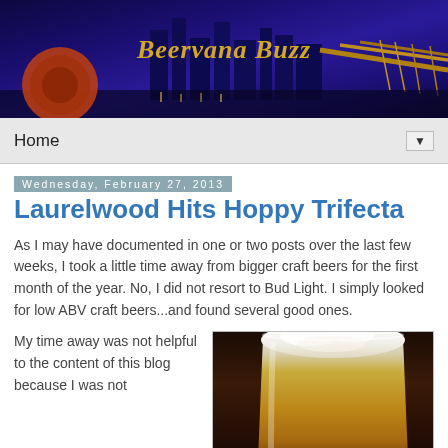[Figure (photo): Beervana Buzz blog header banner showing Portland city skyline at night with purple/blue lighting and a bridge, with the title 'Beervana Buzz' in gold italic text]
Home ▼
Wednesday, February 27, 2013
Laurelwood Hits Hoppy Trifecta
As I may have documented in one or two posts over the last few weeks, I took a little time away from bigger craft beers for the first month of the year. No, I did not resort to Bud Light. I simply looked for low ABV craft beers...and found several good ones.
My time away was not helpful to the content of this blog because I was not
[Figure (photo): Close-up photo of a foamy beer in a glass, golden amber color with white foam head, dark background]